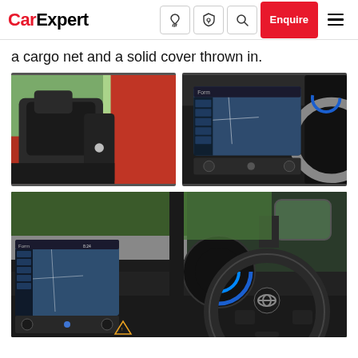CarExpert — Navigation bar with logo, icons, Enquire button, hamburger menu
a cargo net and a solid cover thrown in.
[Figure (photo): Car interior photo showing dark leather front seats of a red Toyota Corolla, with open passenger door revealing a highway in the background]
[Figure (photo): Car dashboard photo showing Toyota Corolla infotainment touchscreen displaying a navigation map, with climate controls and partial steering wheel visible]
[Figure (photo): Wide interior shot of Toyota Corolla showing steering wheel with Toyota logo, infotainment screen with navigation map, instrument cluster, climate controls, and side mirror view of greenery outside]